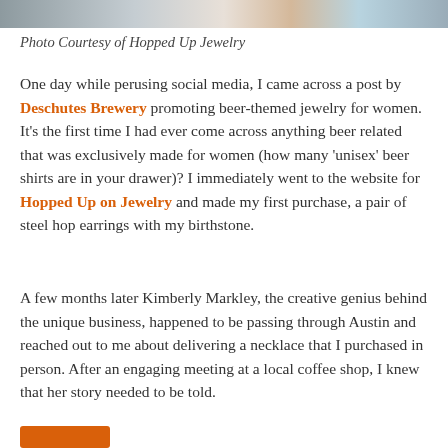[Figure (photo): Partial photo strip visible at top of page, showing a person in a crafts/jewelry shop setting]
Photo Courtesy of Hopped Up Jewelry
One day while perusing social media, I came across a post by Deschutes Brewery promoting beer-themed jewelry for women. It's the first time I had ever come across anything beer related that was exclusively made for women (how many 'unisex' beer shirts are in your drawer)? I immediately went to the website for Hopped Up on Jewelry and made my first purchase, a pair of steel hop earrings with my birthstone.
A few months later Kimberly Markley, the creative genius behind the unique business, happened to be passing through Austin and reached out to me about delivering a necklace that I purchased in person. After an engaging meeting at a local coffee shop, I knew that her story needed to be told.